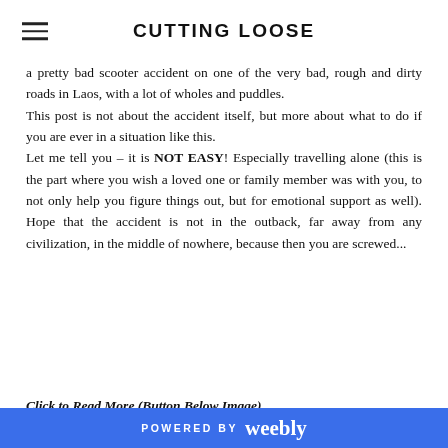CUTTING LOOSE
a pretty bad scooter accident on one of the very bad, rough and dirty roads in Laos, with a lot of wholes and puddles. This post is not about the accident itself, but more about what to do if you are ever in a situation like this. Let me tell you – it is NOT EASY! Especially travelling alone (this is the part where you wish a loved one or family member was with you, to not only help you figure things out, but for emotional support as well). Hope that the accident is not in the outback, far away from any civilization, in the middle of nowhere, because then you are screwed...
Click to Read More (Button Below Image)
[Figure (photo): Two side-by-side photos showing what appears to be corrugated metal or industrial louvered surfaces, dark grey/black in color]
POWERED BY weebly